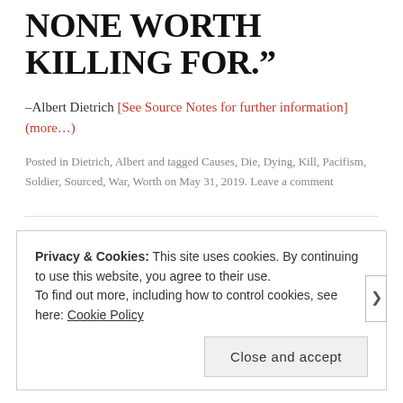NONE WORTH KILLING FOR.”
–Albert Dietrich [See Source Notes for further information] (more…)
Posted in Dietrich, Albert and tagged Causes, Die, Dying, Kill, Pacifism, Soldier, Sourced, War, Worth on May 31, 2019. Leave a comment
Privacy & Cookies: This site uses cookies. By continuing to use this website, you agree to their use.
To find out more, including how to control cookies, see here: Cookie Policy
Close and accept